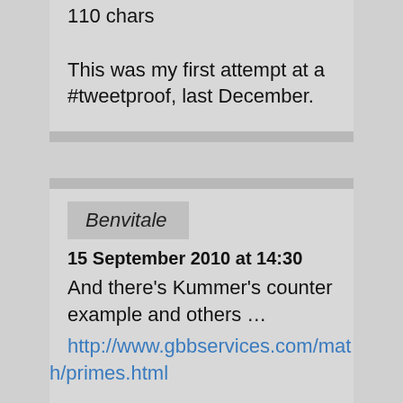110 chars
This was my first attempt at a #tweetproof, last December.
Benvitale
15 September 2010 at 14:30
And there's Kummer's counter example and others …
http://www.gbbservices.com/math/primes.html
Billy Hardy